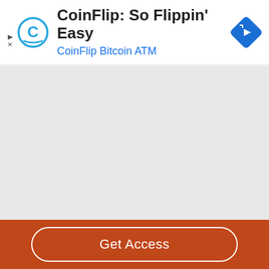[Figure (screenshot): CoinFlip Bitcoin ATM advertisement banner with logo, title text 'CoinFlip: So Flippin' Easy', subtitle 'CoinFlip Bitcoin ATM', and a blue navigation diamond icon on the right]
Get Access